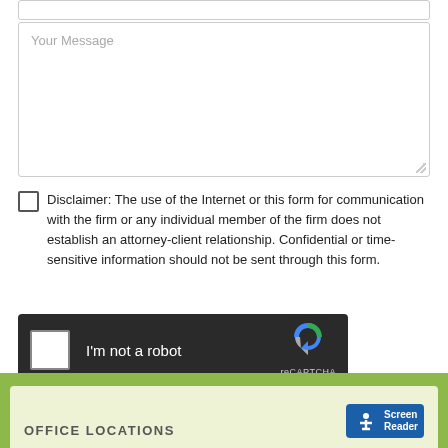[Figure (screenshot): Empty text input bar at the top of a contact form]
Your Message
Disclaimer: The use of the Internet or this form for communication with the firm or any individual member of the firm does not establish an attorney-client relationship. Confidential or time-sensitive information should not be sent through this form.
[Figure (screenshot): reCAPTCHA widget with 'I'm not a robot' checkbox on dark background, showing reCAPTCHA logo, Privacy and Terms links]
Send Message
OFFICE LOCATIONS